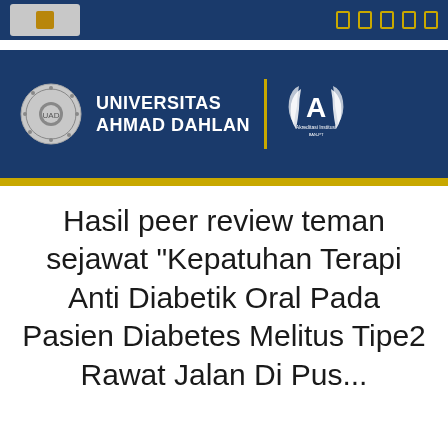[Figure (logo): Universitas Ahmad Dahlan university header banner with institutional seal, university name, gold vertical divider, and accreditation badge 'A' on dark navy blue background with gold bar at bottom]
Hasil peer review teman sejawat "Kepatuhan Terapi Anti Diabetik Oral Pada Pasien Diabetes Melitus Tipe2 Rawat Jalan Di Pus...